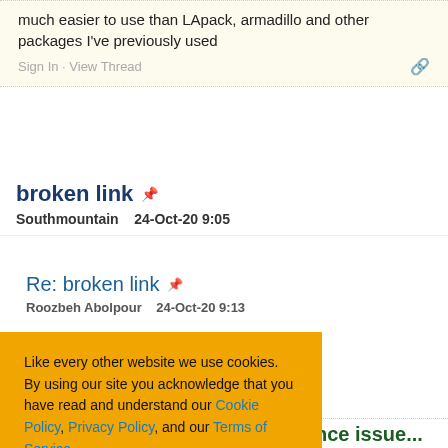much easier to use than LApack, armadillo and other packages I've previously used
Sign In · View Thread
broken link
Southmountain   24-Oct-20 9:05
Re: broken link
Roozbeh Abolpour   24-Oct-20 9:13
Like every other website we use cookies. By using our site you acknowledge that you have read and understand our Cookie Policy, Privacy Policy, and our Terms of Service. Learn more
Ask me later   Decline   Allow cookies
Possible memory and performance issue...